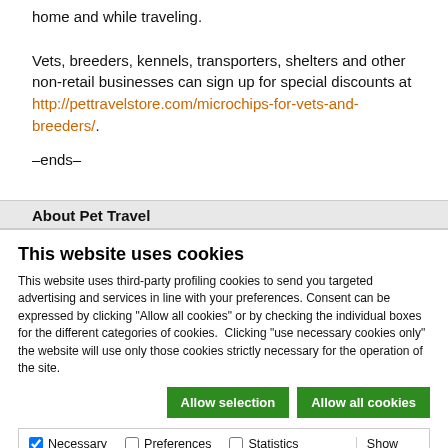home and while traveling.

Vets, breeders, kennels, transporters, shelters and other non-retail businesses can sign up for special discounts at http://pettravelstore.com/microchips-for-vets-and-breeders/.
–ends–
About Pet Travel
This website uses cookies
This website uses third-party profiling cookies to send you targeted advertising and services in line with your preferences. Consent can be expressed by clicking "Allow all cookies" or by checking the individual boxes for the different categories of cookies.  Clicking "use necessary cookies only" the website will use only those cookies strictly necessary for the operation of the site.